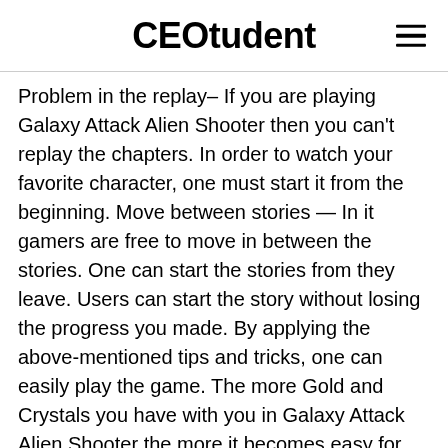CEOtudent
Problem in the replay– If you are playing Galaxy Attack Alien Shooter then you can't replay the chapters. In order to watch your favorite character, one must start it from the beginning. Move between stories — In it gamers are free to move in between the stories. One can start the stories from they leave. Users can start the story without losing the progress you made. By applying the above-mentioned tips and tricks, one can easily play the game. The more Gold and Crystals you have with you in Galaxy Attack Alien Shooter the more it becomes easy for you to go for it.